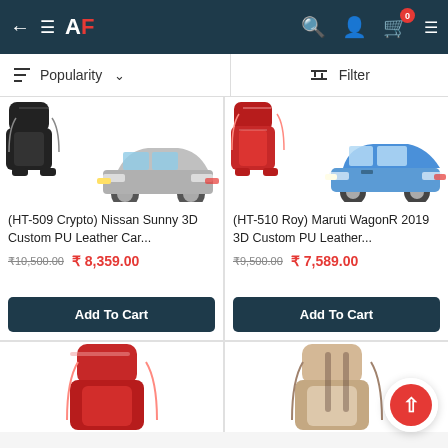← ≡ AF | 🔍 👤 🛒 0
Sort: Popularity ∨ | Filter
[Figure (screenshot): Product card: (HT-509 Crypto) Nissan Sunny 3D Custom PU Leather Car... with black seat cover and silver sedan car image]
(HT-509 Crypto) Nissan Sunny 3D Custom PU Leather Car...
₹10,500.00  ₹ 8,359.00
Add To Cart
[Figure (screenshot): Product card: (HT-510 Roy) Maruti WagonR 2019 3D Custom PU Leather... with red seat cover and blue hatchback car image]
(HT-510 Roy) Maruti WagonR 2019 3D Custom PU Leather...
₹9,500.00  ₹ 7,589.00
Add To Cart
[Figure (screenshot): Partial product card showing red seat cover at bottom of page]
[Figure (screenshot): Partial product card showing beige/cream seat cover at bottom of page]